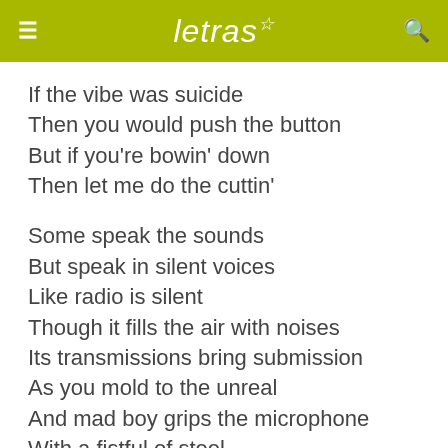letras
If the vibe was suicide
Then you would push the button
But if you're bowin' down
Then let me do the cuttin'
Some speak the sounds
But speak in silent voices
Like radio is silent
Though it fills the air with noises
Its transmissions bring submission
As you mold to the unreal
And mad boy grips the microphone
With a fistful of steel